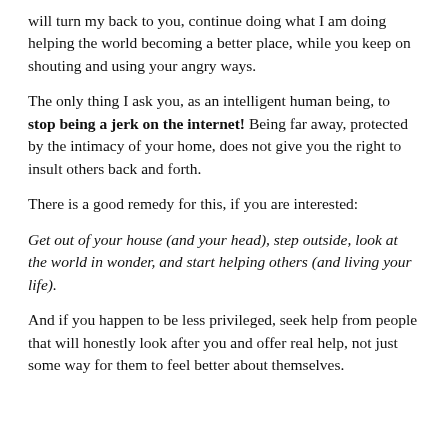will turn my back to you, continue doing what I am doing helping the world becoming a better place, while you keep on shouting and using your angry ways.
The only thing I ask you, as an intelligent human being, to stop being a jerk on the internet! Being far away, protected by the intimacy of your home, does not give you the right to insult others back and forth.
There is a good remedy for this, if you are interested:
Get out of your house (and your head), step outside, look at the world in wonder, and start helping others (and living your life).
And if you happen to be less privileged, seek help from people that will honestly look after you and offer real help, not just some way for them to feel better about themselves.